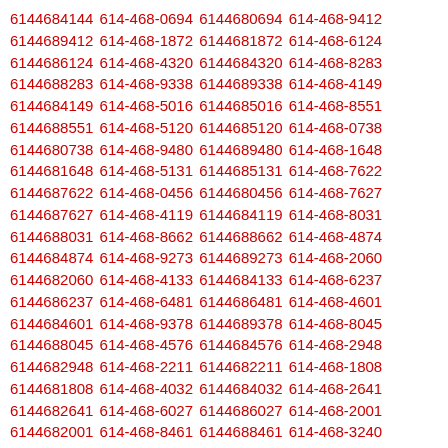6144684144 614-468-0694 6144680694 614-468-9412 6144689412 614-468-1872 6144681872 614-468-6124 6144686124 614-468-4320 6144684320 614-468-8283 6144688283 614-468-9338 6144689338 614-468-4149 6144684149 614-468-5016 6144685016 614-468-8551 6144688551 614-468-5120 6144685120 614-468-0738 6144680738 614-468-9480 6144689480 614-468-1648 6144681648 614-468-5131 6144685131 614-468-7622 6144687622 614-468-0456 6144680456 614-468-7627 6144687627 614-468-4119 6144684119 614-468-8031 6144688031 614-468-8662 6144688662 614-468-4874 6144684874 614-468-9273 6144689273 614-468-2060 6144682060 614-468-4133 6144684133 614-468-6237 6144686237 614-468-6481 6144686481 614-468-4601 6144684601 614-468-9378 6144689378 614-468-8045 6144688045 614-468-4576 6144684576 614-468-2948 6144682948 614-468-2211 6144682211 614-468-1808 6144681808 614-468-4032 6144684032 614-468-2641 6144682641 614-468-6027 6144686027 614-468-2001 6144682001 614-468-8461 6144688461 614-468-3240 6144683240 614-468-1952 6144681952 614-468-5946 6144685946 614-468-8248 6144688248 614-468-0705 6144680705 614-468-7301 6144687301 614-468-1698 6144681698 614-468-5152 6144685152 614-468-5279 6144685279 614-468-8694 6144688694 614-468-6512